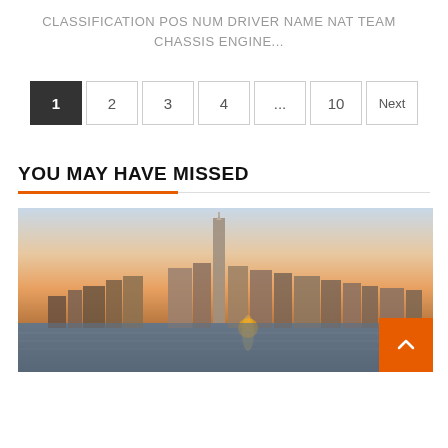CLASSIFICATION POS NUM DRIVER NAME NAT TEAM CHASSIS ENGINE...
1 2 3 4 ... 10 Next
YOU MAY HAVE MISSED
[Figure (photo): City skyline at sunset with tall skyscraper (One World Trade Center) visible, photographed from across water]